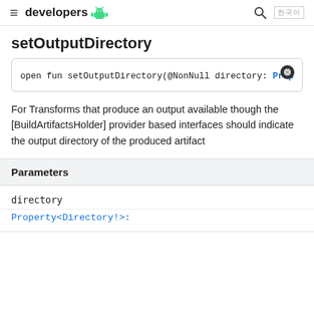developers [Android logo]
setOutputDirectory
open fun setOutputDirectory(@NonNull directory: Prop
For Transforms that produce an output available though the [BuildArtifactsHolder] provider based interfaces should indicate the output directory of the produced artifact
| Parameters |
| --- |
| directory | Property<Directory!>: |